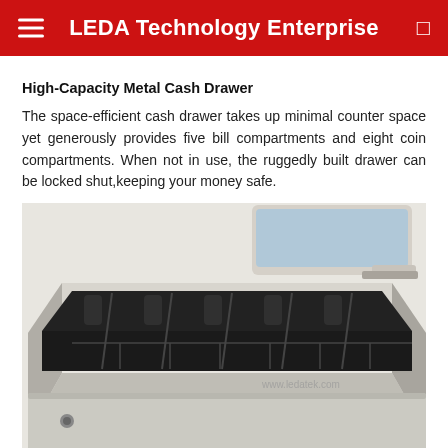LEDA Technology Enterprise
High-Capacity Metal Cash Drawer
The space-efficient cash drawer takes up minimal counter space yet generously provides five bill compartments and eight coin compartments. When not in use, the ruggedly built drawer can be locked shut,keeping your money safe.
[Figure (photo): A high-capacity metal cash drawer shown open, revealing multiple bill compartments and coin slots. The drawer is beige/off-white in color with a black interior tray. A POS terminal or printer is partially visible on top. Watermark reads www.ledatek.com.]